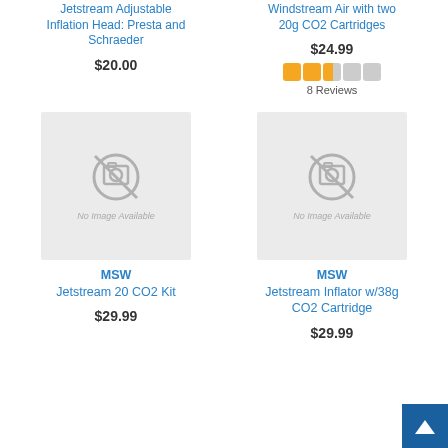Jetstream Adjustable Inflation Head: Presta and Schraeder
$20.00
Windstream Air with two 20g CO2 Cartridges
$24.99
[Figure (other): Star rating: 2.5 out of 5 stars, orange filled squares]
8 Reviews
[Figure (photo): No Image Available placeholder for MSW Jetstream 20 CO2 Kit]
MSW
Jetstream 20 CO2 Kit
$29.99
[Figure (photo): No Image Available placeholder for MSW Jetstream Inflator w/38g CO2 Cartridge]
MSW
Jetstream Inflator w/38g CO2 Cartridge
$29.99